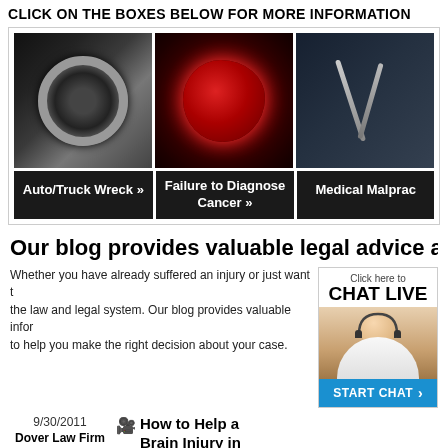CLICK ON THE BOXES BELOW FOR MORE INFORMATION
[Figure (photo): Three clickable image boxes: a car/truck wreck, a cancer cell, and a medical/surgical image]
Auto/Truck Wreck » | Failure to Diagnose Cancer » | Medical Malprac...
Our blog provides valuable legal advice ar
Whether you have already suffered an injury or just want to... the law and legal system. Our blog provides valuable infor... to help you make the right decision about your case.
[Figure (photo): Click here to CHAT LIVE widget with a woman wearing a headset]
9/30/2011
Dover Law Firm
Comments (0)
How to Help a Brain Injury in
If you want to help a loved